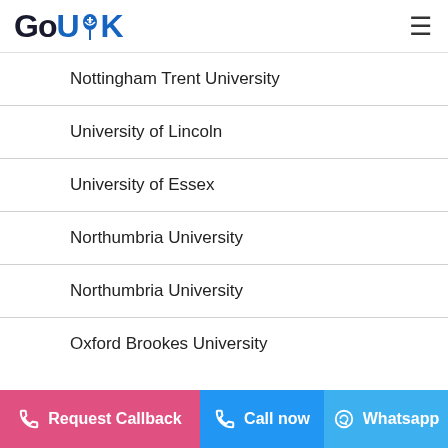GoUK
Nottingham Trent University
University of Lincoln
University of Essex
Northumbria University
Northumbria University
Oxford Brookes University
Request Callback | Call now | Whatsapp